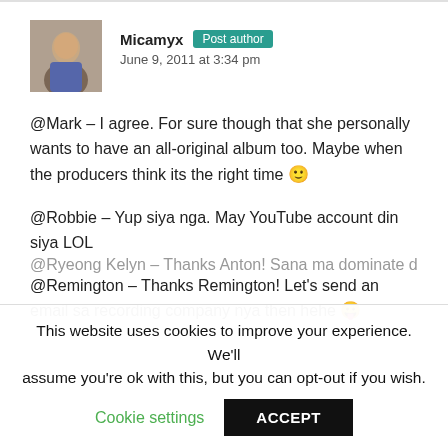Micamyx  Post author
June 9, 2011 at 3:34 pm
@Mark – I agree. For sure though that she personally wants to have an all-original album too. Maybe when the producers think its the right time 🙂
@Robbie – Yup siya nga. May YouTube account din siya LOL
@Remington – Thanks Remington! Let's send an email sa recording company nya then hehe 😛
@Ryeong Kelyn – Thanks Anton! Sana ma dominate din other
This website uses cookies to improve your experience. We'll assume you're ok with this, but you can opt-out if you wish.
Cookie settings   ACCEPT